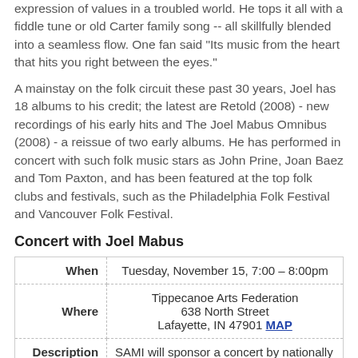expression of values in a troubled world. He tops it all with a fiddle tune or old Carter family song -- all skillfully blended into a seamless flow. One fan said “Its music from the heart that hits you right between the eyes.”
A mainstay on the folk circuit these past 30 years, Joel has 18 albums to his credit; the latest are Retold (2008) - new recordings of his early hits and The Joel Mabus Omnibus (2008) - a reissue of two early albums. He has performed in concert with such folk music stars as John Prine, Joan Baez and Tom Paxton, and has been featured at the top folk clubs and festivals, such as the Philadelphia Folk Festival and Vancouver Folk Festival.
Concert with Joel Mabus
|  |  |
| --- | --- |
| When | Tuesday, November 15, 7:00 – 8:00pm |
| Where | Tippecanoe Arts Federation
638 North Street
Lafayette, IN 47901 MAP |
| Description | SAMI will sponsor a concert by nationally |